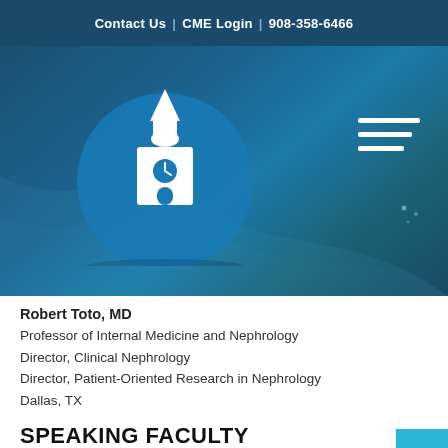Contact Us | CME Login | 908-358-6466
[Figure (logo): Medical/CME organization logo: white building/clock tower icon inside a blue circle, on a dark blue gradient background with hamburger menu icon at right]
Robert Toto, MD
Professor of Internal Medicine and Nephrology
Director, Clinical Nephrology
Director, Patient-Oriented Research in Nephrology
Dallas, TX
SPEAKING FACULTY
Richard E. Pratley, MD